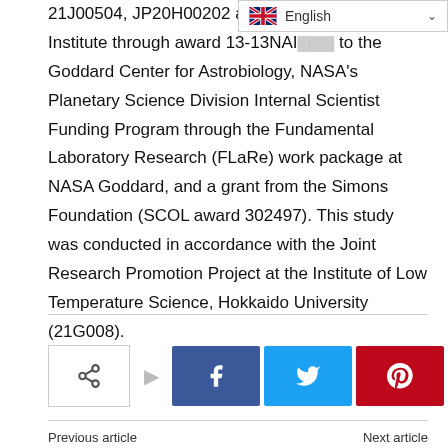21J00504, JP20H00202 and JP20... gy Institute through award 13-13NAI-0332 to the Goddard Center for Astrobiology, NASA's Planetary Science Division Internal Scientist Funding Program through the Fundamental Laboratory Research (FLaRe) work package at NASA Goddard, and a grant from the Simons Foundation (SCOL award 302497). This study was conducted in accordance with the Joint Research Promotion Project at the Institute of Low Temperature Science, Hokkaido University (21G008).
[Figure (other): Social share buttons: share icon box, arrow, Facebook (f), Twitter (bird), Pinterest (P), WhatsApp (phone) buttons]
Previous article    Next article